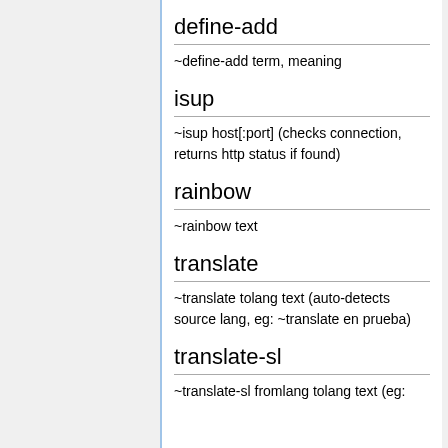define-add
~define-add term, meaning
isup
~isup host[:port] (checks connection, returns http status if found)
rainbow
~rainbow text
translate
~translate tolang text (auto-detects source lang, eg: ~translate en prueba)
translate-sl
~translate-sl fromlang tolang text (eg: